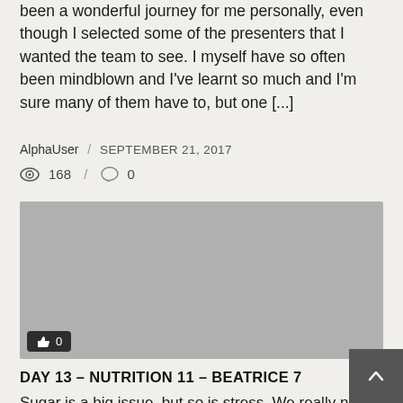been a wonderful journey for me personally, even though I selected some of the presenters that I wanted the team to see. I myself have so often been mindblown and I've learnt so much and I'm sure many of them have to, but one [...]
AlphaUser / SEPTEMBER 21, 2017
168 / 0
[Figure (photo): Gray placeholder image block with a like badge showing thumbs up icon and 0]
DAY 13 – NUTRITION 11 – BEATRICE 7
Sugar is a big issue, but so is stress. We really need to start to